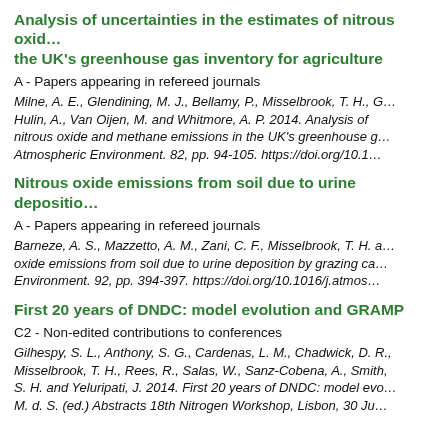Analysis of uncertainties in the estimates of nitrous oxide and methane emissions in the UK's greenhouse gas inventory for agriculture
A - Papers appearing in refereed journals
Milne, A. E., Glendining, M. J., Bellamy, P., Misselbrook, T. H., Hulin, A., Van Oijen, M. and Whitmore, A. P. 2014. Analysis of nitrous oxide and methane emissions in the UK's greenhouse gas inventory for agriculture. Atmospheric Environment. 82, pp. 94-105. https://doi.org/10.1...
Nitrous oxide emissions from soil due to urine deposition by grazing cattle
A - Papers appearing in refereed journals
Barneze, A. S., Mazzetto, A. M., Zani, C. F., Misselbrook, T. H. and ... oxide emissions from soil due to urine deposition by grazing ca... Environment. 92, pp. 394-397. https://doi.org/10.1016/j.atmos...
First 20 years of DNDC: model evolution and GRAMP
C2 - Non-edited contributions to conferences
Gilhespy, S. L., Anthony, S. G., Cardenas, L. M., Chadwick, D. R., Misselbrook, T. H., Rees, R., Salas, W., Sanz-Cobena, A., Smith, S. H. and Yeluripati, J. 2014. First 20 years of DNDC: model evo... M. d. S. (ed.) Abstracts 18th Nitrogen Workshop, Lisbon, 30 Ju...